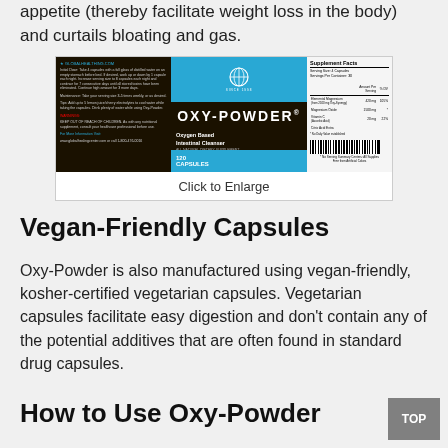appetite (thereby facilitate weight loss in the body) and curtails bloating and gas.
[Figure (photo): Product image of Oxy-Powder Oxygen Based Intestinal Cleanser supplement bottle label, showing supplement facts panel and barcode. Caption below reads 'Click to Enlarge'.]
Click to Enlarge
Vegan-Friendly Capsules
Oxy-Powder is also manufactured using vegan-friendly, kosher-certified vegetarian capsules. Vegetarian capsules facilitate easy digestion and don’t contain any of the potential additives that are often found in standard drug capsules.
How to Use Oxy-Powder